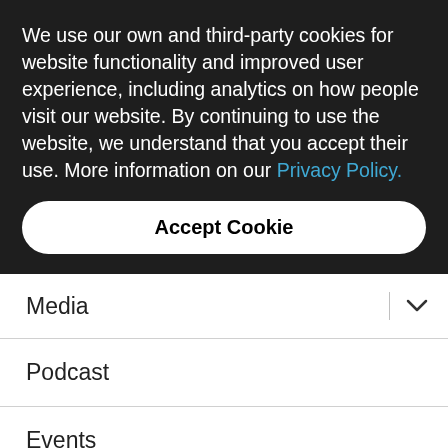We use our own and third-party cookies for website functionality and improved user experience, including analytics on how people visit our website. By continuing to use the website, we understand that you accept their use. More information on our Privacy Policy.
Accept Cookie
Media
Podcast
Events
Meditation
[Figure (logo): YouTube logo mark (partial, cut off at bottom)]